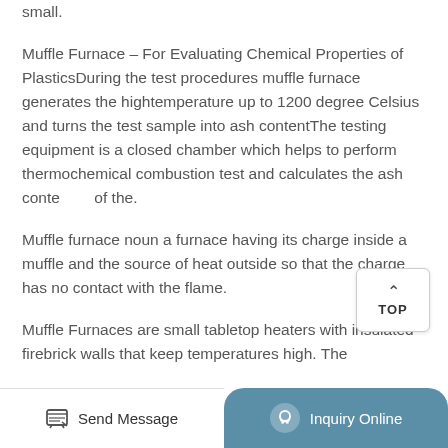small.
Muffle Furnace – For Evaluating Chemical Properties of PlasticsDuring the test procedures muffle furnace generates the hightemperature up to 1200 degree Celsius and turns the test sample into ash contentThe testing equipment is a closed chamber which helps to perform thermochemical combustion test and calculates the ash conte [partially obscured] the.
Muffle furnace noun a furnace having its charge inside a muffle and the source of heat outside so that the charge has no contact with the flame.
Muffle Furnaces are small tabletop heaters with insulated firebrick walls that keep temperatures high. [partially cut off]
Send Message   Inquiry Online